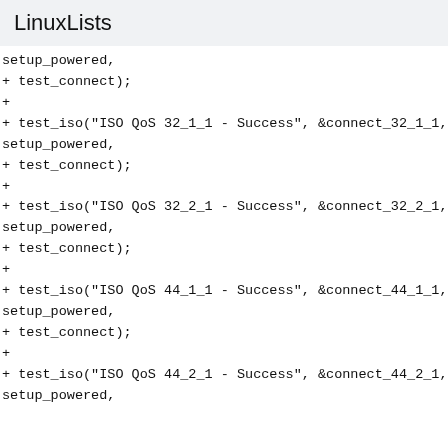LinuxLists
setup_powered,
+ test_connect);
+
+ test_iso("ISO QoS 32_1_1 - Success", &connect_32_1_1,
setup_powered,
+ test_connect);
+
+ test_iso("ISO QoS 32_2_1 - Success", &connect_32_2_1,
setup_powered,
+ test_connect);
+
+ test_iso("ISO QoS 44_1_1 - Success", &connect_44_1_1,
setup_powered,
+ test_connect);
+
+ test_iso("ISO QoS 44_2_1 - Success", &connect_44_2_1,
setup_powered,